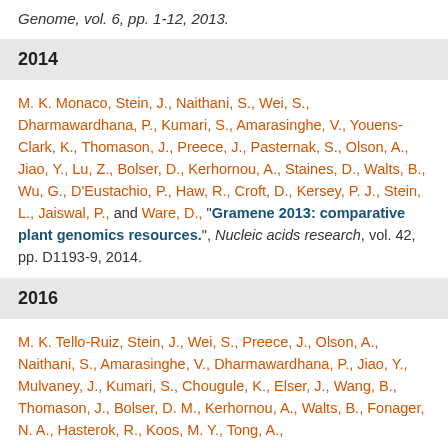Genome, vol. 6, pp. 1-12, 2013.
2014
M. K. Monaco, Stein, J., Naithani, S., Wei, S., Dharmawardhana, P., Kumari, S., Amarasinghe, V., Youens-Clark, K., Thomason, J., Preece, J., Pasternak, S., Olson, A., Jiao, Y., Lu, Z., Bolser, D., Kerhornou, A., Staines, D., Walts, B., Wu, G., D'Eustachio, P., Haw, R., Croft, D., Kersey, P. J., Stein, L., Jaiswal, P., and Ware, D., "Gramene 2013: comparative plant genomics resources.", Nucleic acids research, vol. 42, pp. D1193-9, 2014.
2016
M. K. Tello-Ruiz, Stein, J., Wei, S., Preece, J., Olson, A., Naithani, S., Amarasinghe, V., Dharmawardhana, P., Jiao, Y., Mulvaney, J., Kumari, S., Chougule, K., Elser, J., Wang, B., Thomason, J., Bolser, D. M., Kerhornou, A., Walts, B., Fonager, N. A., Hasterok, R., Koos, M. Y., Tong, A., ...